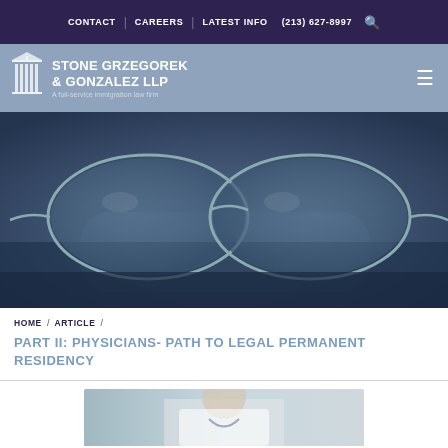CONTACT | CAREERS | LATEST INFO (213) 627-8997
[Figure (logo): Stone Grzegorek & Gonzalez LLP law firm logo with stylized building icon. Text: STONE GRZEGOREK & GONZALEZ LLP - A full-service immigration law firm]
[Figure (photo): Close-up photo of wire-rimmed glasses resting on an open book, with dark blue-grey overlay tone]
HOME / ARTICLE /
PART II: PHYSICIANS- PATH TO LEGAL PERMANENT RESIDENCY
[Figure (photo): Partial photo at bottom showing a person in medical/professional attire, cropped at top of page]